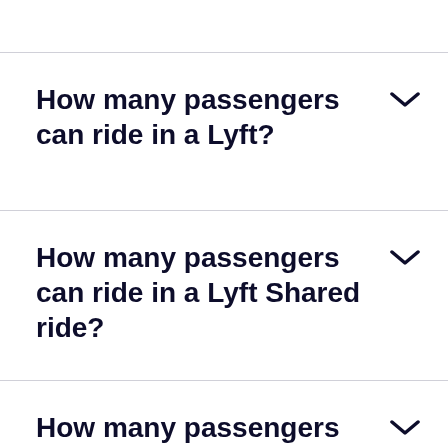How many passengers can ride in a Lyft?
How many passengers can ride in a Lyft Shared ride?
How many passengers can ride in a Lyft XL?